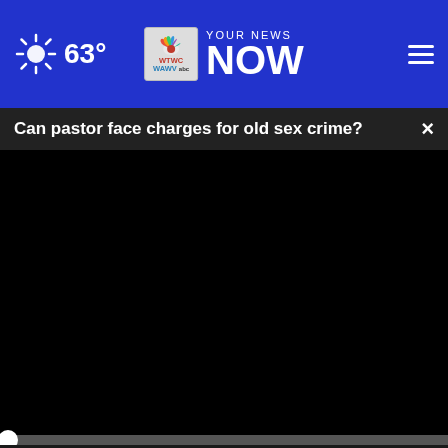63° YOUR NEWS NOW — WTWC WAWV NBC2
Can pastor face charges for old sex crime?
[Figure (screenshot): Embedded video player showing black screen with playback controls: play button, mute icon, 00:00 timestamp, captions button, fullscreen button. Progress bar at bottom with white dot at start.]
[Figure (photo): Partial photo of a woman with teal/blue background, partially visible behind an advertisement overlay.]
[Figure (infographic): Scheiddiesel Parts & Service Authorized Dealer advertisement banner with circular product images showing automotive parts.]
Hands Down the Top Credit Card of 2022